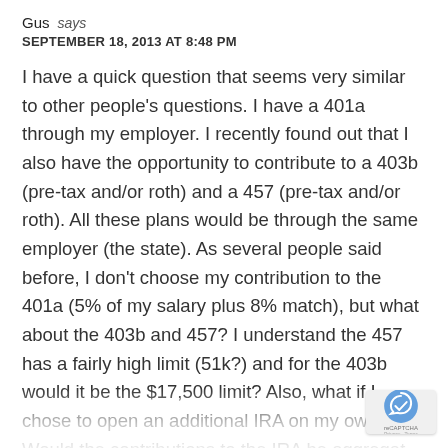Gus says
SEPTEMBER 18, 2013 AT 8:48 PM
I have a quick question that seems very similar to other people’s questions. I have a 401a through my employer. I recently found out that I also have the opportunity to contribute to a 403b (pre-tax and/or roth) and a 457 (pre-tax and/or roth). All these plans would be through the same employer (the state). As several people said before, I don’t choose my contribution to the 401a (5% of my salary plus 8% match), but what about the 403b and 457? I understand the 457 has a fairly high limit (51k?) and for the 403b would it be the $17,500 limit? Also, what if I chose to open an additional IRA on my own? Would the contributions to the IRA be aggregat…